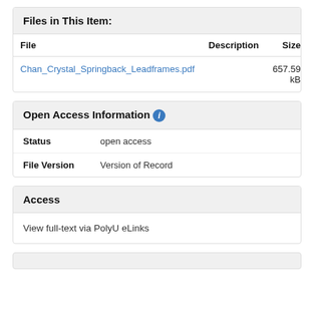Files in This Item:
| File | Description | Size |
| --- | --- | --- |
| Chan_Crystal_Springback_Leadframes.pdf |  | 657.59 kB |
Open Access Information
Status: open access
File Version: Version of Record
Access
View full-text via PolyU eLinks